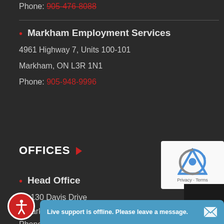Phone: 905-476-8088
Markham Employment Services
4961 Highway 7, Units 100-101
Markham, ON L3R 1N1
Phone: 905-948-9996
OFFICES
Head Office
14-130 Davis Drive
Newmarket, ON L3Y 2N1
Phone: 9...
[Figure (other): reCAPTCHA widget with Privacy and Terms links]
[Figure (other): Accessibility icon button (red circle with person figure)]
[Figure (other): Dark map area overlay]
Live support is offline. Please leave a message.